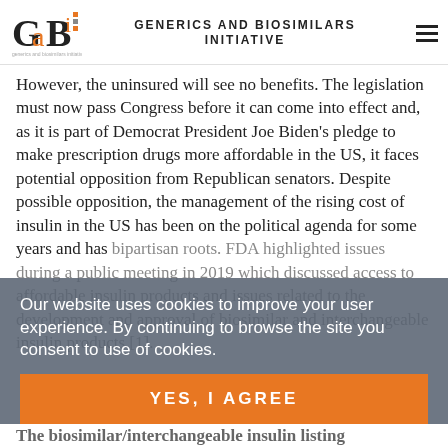GENERICS AND BIOSIMILARS INITIATIVE
However, the uninsured will see no benefits. The legislation must now pass Congress before it can come into effect and, as it is part of Democrat President Joe Biden's pledge to make prescription drugs more affordable in the US, it faces potential opposition from Republican senators. Despite possible opposition, the management of the rising cost of insulin in the US has been on the political agenda for some years and has bipartisan roots. FDA highlighted issues during a public meeting in 2019 which discussed access to affordable insulin products and issues related to the development and approval of biosimilar and interchangeable insulin products [1].
Our website uses cookies to improve your user experience. By continuing to browse the site you consent to use of cookies.
YES, I AGREE
The biosimilar/interchangeable insulin listing